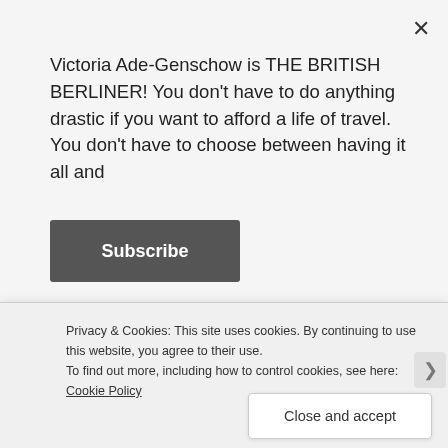Victoria Ade-Genschow is THE BRITISH BERLINER! You don't have to do anything drastic if you want to afford a life of travel. You don't have to choose between having it all and
Subscribe
Continue Reading
Advertisements
[Figure (other): Blue advertisement banner with white icons]
Privacy & Cookies: This site uses cookies. By continuing to use this website, you agree to their use.
To find out more, including how to control cookies, see here: Cookie Policy
Close and accept